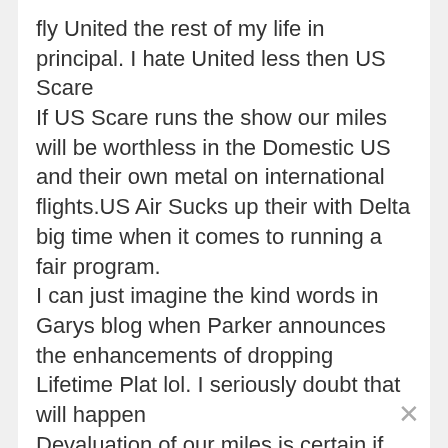fly United the rest of my life in principal. I hate United less then US Scare
If US Scare runs the show our miles will be worthless in the Domestic US and their own metal on international flights.US Air Sucks up their with Delta big time when it comes to running a fair program.
I can just imagine the kind words in Garys blog when Parker announces the enhancements of dropping Lifetime Plat lol. I seriously doubt that will happen
Devaluation of our miles is certain if the awful Parker dog and pony show is in place